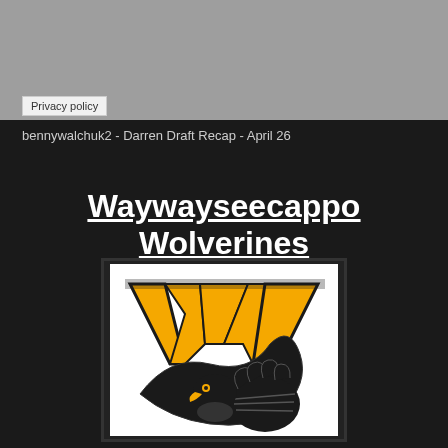[Figure (illustration): Gray banner/advertisement area at top of page]
Privacy policy
bennywalchuk2 - Darren Draft Recap - April 26
Waywayseecappo Wolverines
[Figure (logo): Waywayseecappo Wolverines logo featuring a gold W with a wolverine/eagle claw holding a football, on white background with black border]